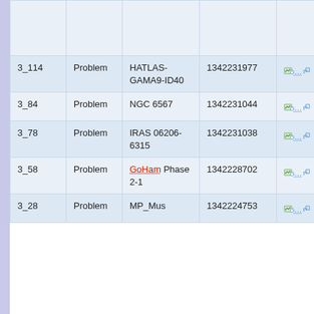|  |  |  |  |  |
| --- | --- | --- | --- | --- |
|  |  |  |  |  |
| 3_114 | Problem | HATLAS-GAMA9-ID40 | 1342231977 |  |
| 3_84 | Problem | NGC 6567 | 1342231044 |  |
| 3_78 | Problem | IRAS 06206-6315 | 1342231038 |  |
| 3_58 | Problem | GoHam Phase 2-1 | 1342228702 |  |
| 3_28 | Problem | MP_Mus | 1342224753 |  |